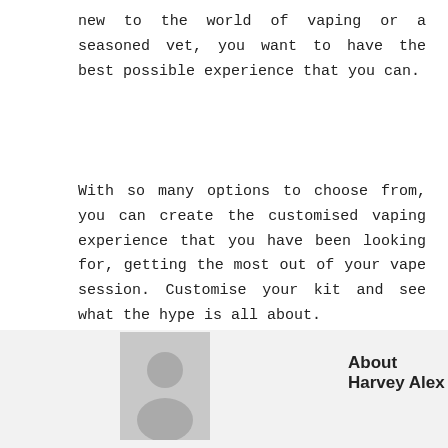new to the world of vaping or a seasoned vet, you want to have the best possible experience that you can.
With so many options to choose from, you can create the customised vaping experience that you have been looking for, getting the most out of your vape session. Customise your kit and see what the hype is all about.
[Figure (illustration): Grey circular avatar placeholder image representing author Harvey Alex]
About Harvey Alex